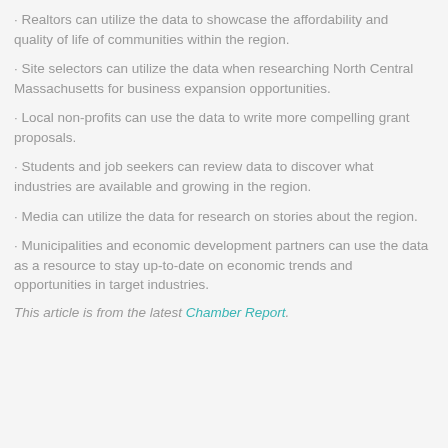· Realtors can utilize the data to showcase the affordability and quality of life of communities within the region.
· Site selectors can utilize the data when researching North Central Massachusetts for business expansion opportunities.
· Local non-profits can use the data to write more compelling grant proposals.
· Students and job seekers can review data to discover what industries are available and growing in the region.
· Media can utilize the data for research on stories about the region.
· Municipalities and economic development partners can use the data as a resource to stay up-to-date on economic trends and opportunities in target industries.
This article is from the latest Chamber Report.